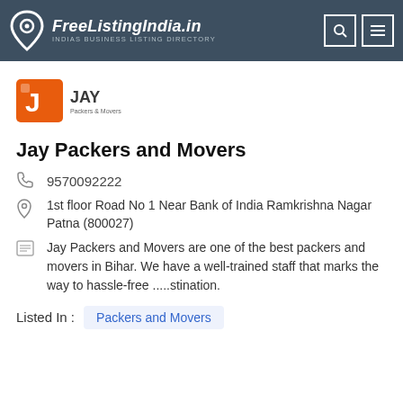FreeListingIndia.in — INDIAS BUSINESS LISTING DIRECTORY
[Figure (logo): Jay Packers and Movers logo — orange square with J icon and JAY Packers & Movers text]
Jay Packers and Movers
9570092222
1st floor Road No 1 Near Bank of India Ramkrishna Nagar Patna (800027)
Jay Packers and Movers are one of the best packers and movers in Bihar. We have a well-trained staff that marks the way to hassle-free .....stination.
Listed In : Packers and Movers